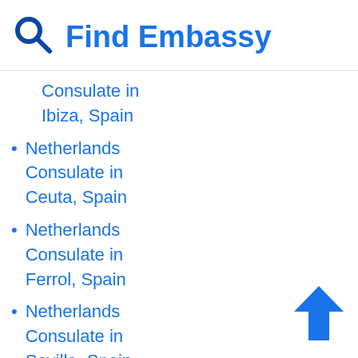Find Embassy
Netherlands Consulate in Ibiza, Spain
Netherlands Consulate in Ceuta, Spain
Netherlands Consulate in Ferrol, Spain
Netherlands Consulate in Sevilla, Spain
Netherlands
[Figure (illustration): Blue upward-pointing arrow icon in bottom-right corner]